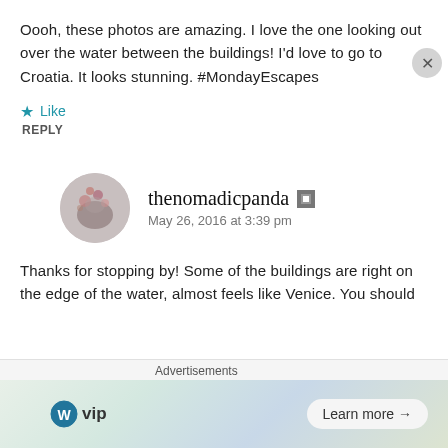Oooh, these photos are amazing. I love the one looking out over the water between the buildings! I'd love to go to Croatia. It looks stunning. #MondayEscapes
Like
REPLY
[Figure (photo): Circular avatar with flowers/botanical image]
thenomadicpanda
May 26, 2016 at 3:39 pm
Thanks for stopping by! Some of the buildings are right on the edge of the water, almost feels like Venice. You should
Advertisements